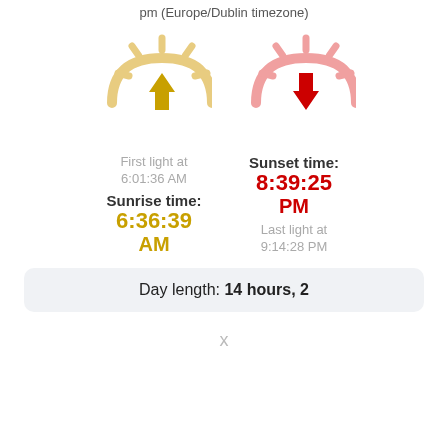pm (Europe/Dublin timezone)
[Figure (illustration): Two sun icons: a golden sunrise sun with an upward arrow on the left, and a pink/red sunset sun with a downward arrow on the right.]
First light at 6:01:36 AM
Sunrise time: 6:36:39 AM
Sunset time: 8:39:25 PM
Last light at 9:14:28 PM
Day length: 14 hours, 2